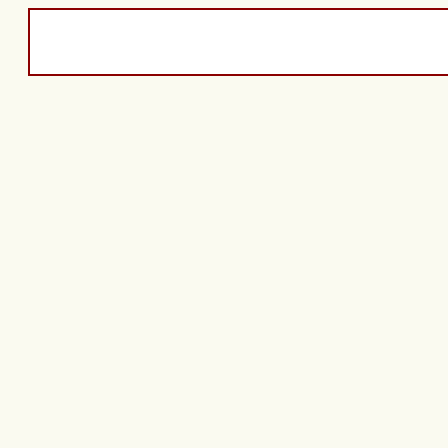[Figure (other): Search box with dark red border on left panel]
[Figure (other): Apply Now button - red outer border, dark gradient inner, white bold text]
[Figure (other): Tweet button - blue pill shape with Twitter bird icon and 'Tweet' text]
Service Tech – 1st
Monday, August 22, 2022 10:16:00 A
OVERVIEW
Moscow Iowa manufacturer of a 1st Service Tech.
JOB RESPONSIBILITIES
Installing, repairing, and trou
Material Handling up to 50 lb
SKILLS/QUALIFICATIONS
Dependable and reliable
Experience in automotive, tru
WORK HOURS/SHIFT
Monday – Friday 7AM – 3:30
WAGE
$15+/hr. Pay will be higher w
BACKGROUND SCREENING
Pre-employment drug testing